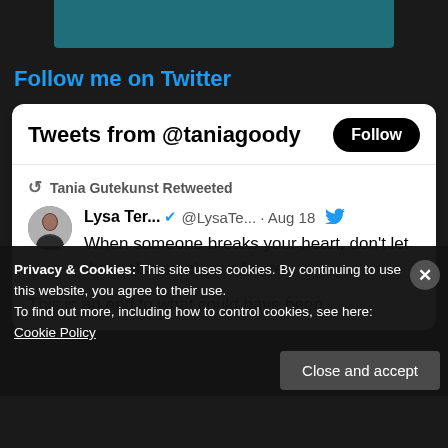Follow me on Twitter
[Figure (screenshot): Twitter widget showing 'Tweets from @taniagoody' with a Follow button. Shows a retweet by Tania Gutekunst of a tweet by Lysa Ter... @LysaTe... from Aug 18 reading: 'When someone breaks your heart, don't let them also steal your future. This is an end to what could have been.']
Privacy & Cookies: This site uses cookies. By continuing to use this website, you agree to their use.
To find out more, including how to control cookies, see here: Cookie Policy
Close and accept